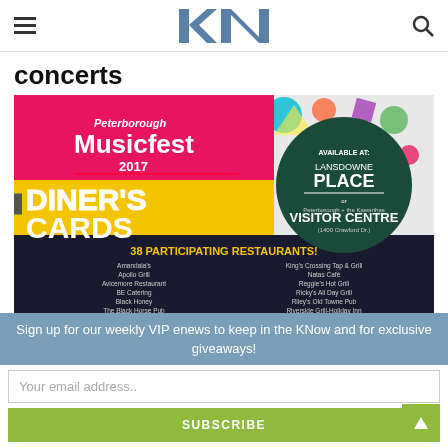kN (logo) — hamburger menu and search icons
concerts
[Figure (illustration): Peterborough Musicfest 2017 Diner's Cards promotional poster. Features colorful graphic design with text: 'Peterborough Musicfest 2017', 'DINER'S CARDS', 'AVAILABLE AT: LANSDOWNE PLACE or Peterborough + the Kawarthas VISITOR CENTRE (1400 Crawford Dr.)' and 'or online @ www.ptbomusicfest.ca'. Lists '38 PARTICIPATING RESTAURANTS!' including Amandala's, Apollo Grill, Avicemore Restaurant, BE Catering, Black Honey, The Black Horse Pub, Brickhouse Craft Burger Grill, King's Crossing Tap & Grill, Natas Café, Reggie's Hot Grill, Ricky's All Day Grill, Riley's Old Towne Pub, Riverside Grill-Holiday Inn, Roland's Fine Dining.]
Sign up for our weekly VIP enews to keep in the KNow and for exclusive giveaways!
Your email address..
SUBSCRIBE